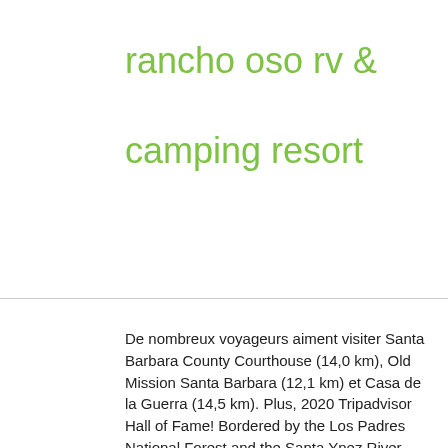rancho oso rv & camping resort
De nombreux voyageurs aiment visiter Santa Barbara County Courthouse (14,0 km), Old Mission Santa Barbara (12,1 km) et Casa de la Guerra (14,5 km). Plus, 2020 Tripadvisor Hall of Fame! Bordered by the Los Padres National Forest and the Santa Ynez River, Rancho Oso RV Camping offers acres of beautiful scenery and endless opportunities for horseback riding, hiking, and photography. 3750 Paradise Road Santa Barbara, CA 93105. Your credit card will be charged one night rack rate prior to arrival. Affichez tous les services de l'établissement. Guided Horseback Rides (not available on Mondays and Tuesdays). Ocean Mesa RV Resort. Affichez toutes les attractions à proximité. Hand-led rides for ages 5-7 can be